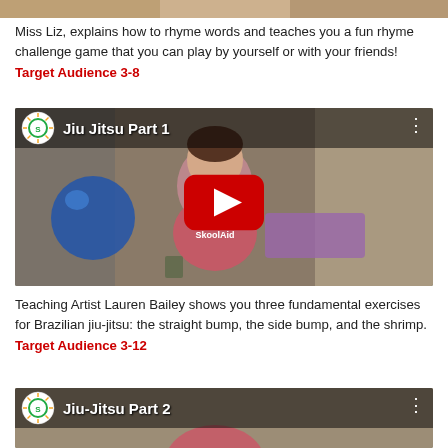[Figure (screenshot): Top partial image crop of a video thumbnail]
Miss Liz, explains how to rhyme words and teaches you a fun rhyme challenge game that you can play by yourself or with your friends! Target Audience 3-8
[Figure (screenshot): YouTube video thumbnail titled 'Jiu Jitsu Part 1' showing a woman in a pink SkoolAid shirt with a red play button, blue exercise ball and purple mat in background]
Teaching Artist Lauren Bailey shows you three fundamental exercises for Brazilian jiu-jitsu: the straight bump, the side bump, and the shrimp. Target Audience 3-12
[Figure (screenshot): Partial YouTube video thumbnail titled 'Jiu-Jitsu Part 2' showing same woman in pink SkoolAid shirt]